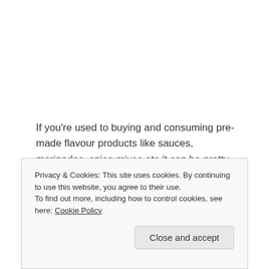If you're used to buying and consuming pre-made flavour products like sauces, marinades, spice mixes etc it can be pretty daunting at first to think of making your own versions from scratch, but I promise, it's really not hard and once you start you'll find it gets even easier pretty quickly!
I like to buy organic dried and herbs from bulk stores
Privacy & Cookies: This site uses cookies. By continuing to use this website, you agree to their use.
To find out more, including how to control cookies, see here: Cookie Policy